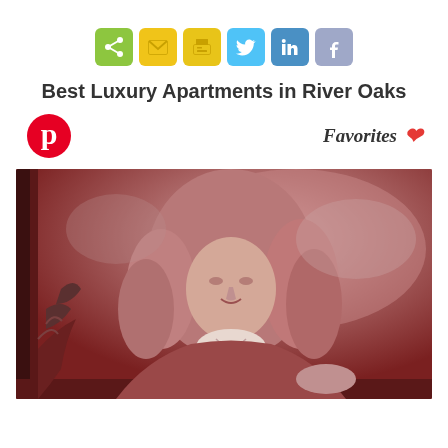[Figure (other): Row of social sharing icon buttons: share (green), email (yellow), print (yellow), Twitter (light blue), LinkedIn (blue), Facebook (purple-blue)]
Best Luxury Apartments in River Oaks
[Figure (other): Pinterest logo icon (red circle with white P)]
Favorites ❤
[Figure (photo): A large photo of a classical portrait painting rendered in reddish-brown monochrome tones, showing a nobleman in a long curly wig from the Baroque era, wearing an ornate coat with lace collar, posed in a landscape setting. The painting appears mounted on a canvas block frame.]